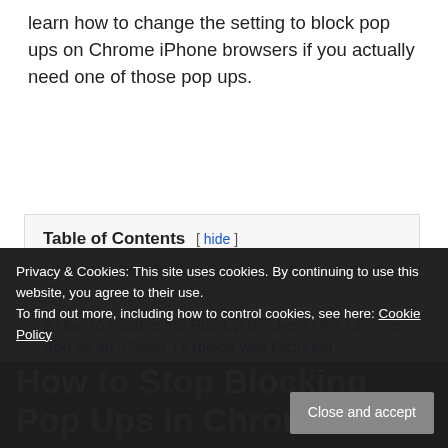learn how to change the setting to block pop ups on Chrome iPhone browsers if you actually need one of those pop ups.
| 1 How to Stop Blocking Pop Ups in Chrome on an iPhone |
| 2 How to Disable the Pop-Up Blocker in the Chrome App on an iPhone 11 (guide with Pictures) |
| 3 Additional Reading |
Privacy & Cookies: This site uses cookies. By continuing to use this website, you agree to their use.
To find out more, including how to control cookies, see here: Cookie Policy
How to Stop Blocking Pop Ups in Chrome on an iPhone